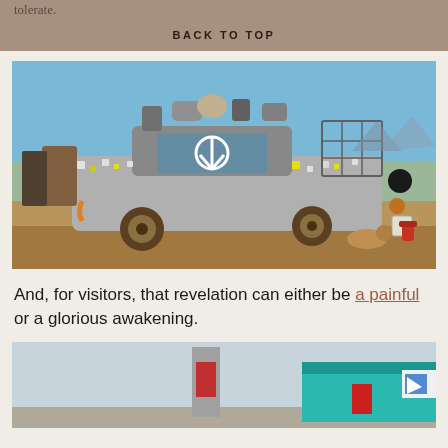tolerate.
BACK TO TOP
[Figure (photo): An art car covered in mirrors, found objects, and a peace sign on the windshield, parked in a desert setting with blue sky and mountains in background.]
And, for visitors, that revelation can either be a painful or a glorious awakening.
[Figure (photo): A desert scene with a tall rectangular red sign structure on the left and a teal/turquoise building facade on the right, against a pale sky.]